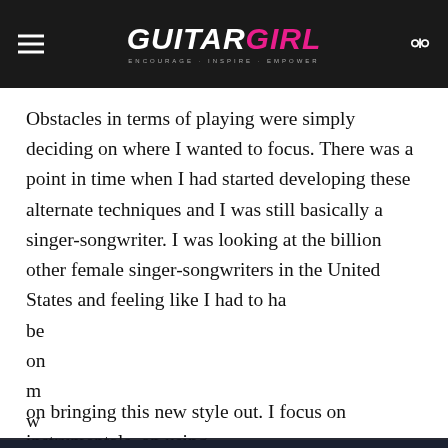Guitar Girl Magazine — ENCOURAGE · INSPIRE · EMPOWER
Obstacles in terms of playing were simply deciding on where I wanted to focus. There was a point in time when I had started developing these alternate techniques and I was still basically a singer-songwriter. I was looking at the billion other female singer-songwriters in the United States and feeling like I had to ha be on m w p m to on bringing this new style out. I focus on instrumentals, on using this
Cookie consent
This website uses cookies to improve your experience. We will assume you are ok with this, but you can opt-out if you wish. Read More
Preferences    Accept All